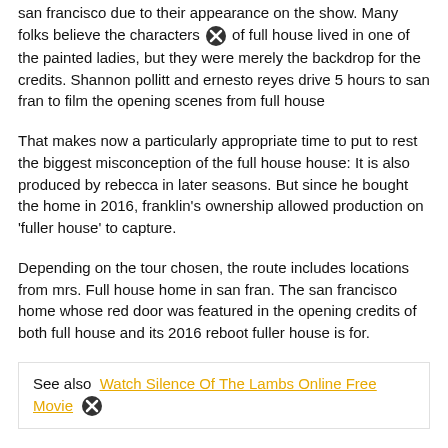san francisco due to their appearance on the show. Many folks believe the characters of full house lived in one of the painted ladies, but they were merely the backdrop for the credits. Shannon pollitt and ernesto reyes drive 5 hours to san fran to film the opening scenes from full house
That makes now a particularly appropriate time to put to rest the biggest misconception of the full house house: It is also produced by rebecca in later seasons. But since he bought the home in 2016, franklin's ownership allowed production on 'fuller house' to capture.
Depending on the tour chosen, the route includes locations from mrs. Full house home in san fran. The san francisco home whose red door was featured in the opening credits of both full house and its 2016 reboot fuller house is for.
See also  Watch Silence Of The Lambs Online Free Movie